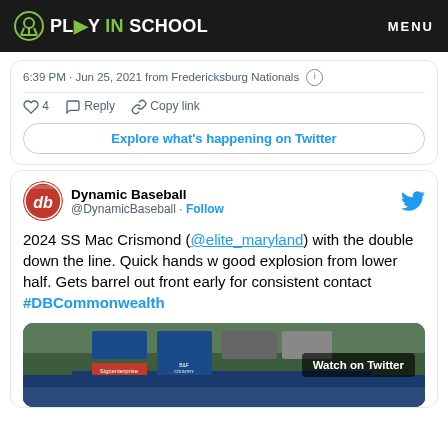PLAY IN SCHOOL — MENU
6:39 PM · Jun 25, 2021 from Fredericksburg Nationals
4   Reply   Copy link
Explore what's happening on Twitter
Dynamic Baseball @DynamicBaseball · Follow
2024 SS Mac Crismond (@elite_maryland) with the double down the line. Quick hands w good explosion from lower half. Gets barrel out front early for consistent contact #DBCommonwealth
[Figure (screenshot): Baseball field video thumbnail with 'Watch on Twitter' overlay button and stadium billboard advertisements in background]